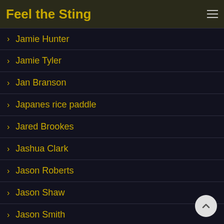Feel the Sting
Jamie Hunter
Jamie Tyler
Jan Branson
Japanes rice paddle
Jared Brookes
Jashua Clark
Jason Roberts
Jason Shaw
Jason Smith
Jason Ward
Jaxson Radoc
Jay